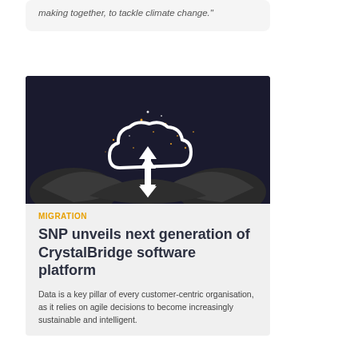making together, to tackle climate change."
[Figure (photo): Hands holding a glowing cloud icon with upload/download arrows, dark dramatic background with light particles]
MIGRATION
SNP unveils next generation of CrystalBridge software platform
Data is a key pillar of every customer-centric organisation, as it relies on agile decisions to become increasingly sustainable and intelligent.